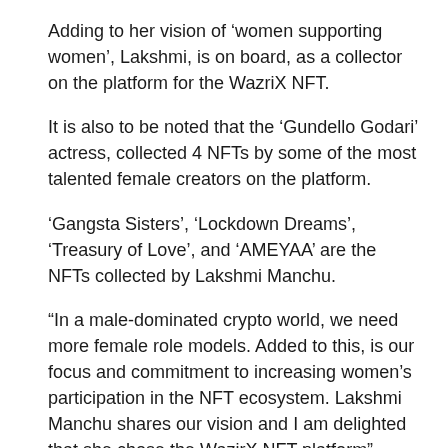Adding to her vision of ‘women supporting women’, Lakshmi, is on board, as a collector on the platform for the WazriX NFT.
It is also to be noted that the ‘Gundello Godari’ actress, collected 4 NFTs by some of the most talented female creators on the platform.
‘Gangsta Sisters’, ‘Lockdown Dreams’, ‘Treasury of Love’, and ‘AMEYAA’ are the NFTs collected by Lakshmi Manchu.
“In a male-dominated crypto world, we need more female role models. Added to this, is our focus and commitment to increasing women’s participation in the NFT ecosystem. Lakshmi Manchu shares our vision and I am delighted that she chose the WazirX NFT platform”, Vishakha Singh, VP, WazirX NFT Marketplace told the media.